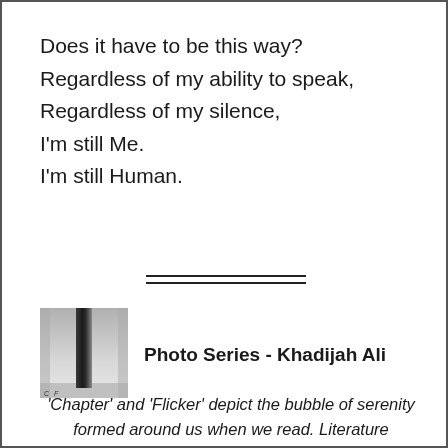Does it have to be this way?
Regardless of my ability to speak,
Regardless of my silence,
I'm still Me.
I'm still Human.
[Figure (other): Double horizontal rule divider]
[Figure (photo): Small thumbnail image of a dimly lit corridor or doorway scene, grayscale. Labeled 'Chapter' and 'Flicker' photo series by Khadijah Ali.]
Photo Series - Khadijah Ali
'Chapter' and 'Flicker' depict the bubble of serenity formed around us when we read. Literature